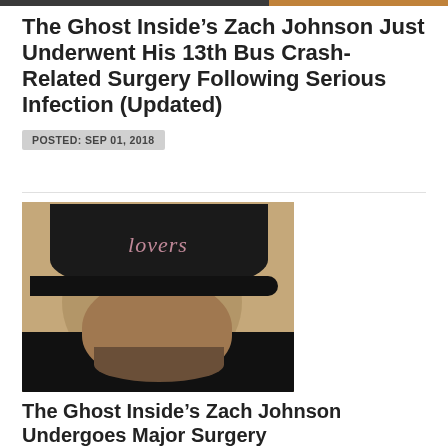The Ghost Inside’s Zach Johnson Just Underwent His 13th Bus Crash-Related Surgery Following Serious Infection (Updated)
POSTED: SEP 01, 2018
[Figure (photo): Photo of a man wearing a black cap with 'lovers' written on it in cursive script, with tattoos on his neck, against a tan/beige wall background.]
The Ghost Inside’s Zach Johnson Undergoes Major Surgery
POSTED: APR 14, 2017